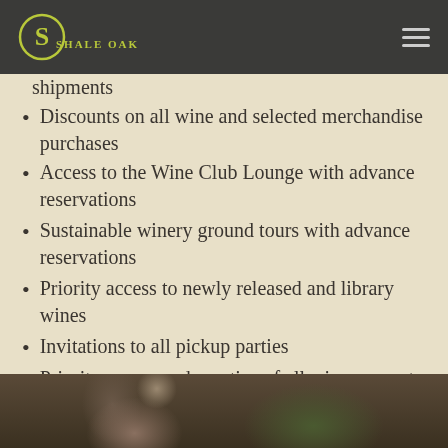SHALE OAK
shipments
Discounts on all wine and selected merchandise purchases
Access to the Wine Club Lounge with advance reservations
Sustainable winery ground tours with advance reservations
Priority access to newly released and library wines
Invitations to all pickup parties
Priority access and a notice of all winery events and news
Option to choose from the Winemaker selections or choose your own wine preferences for each shipment
[Figure (photo): Bottom strip showing a partially visible person outdoors among greenery, blurred/cropped]